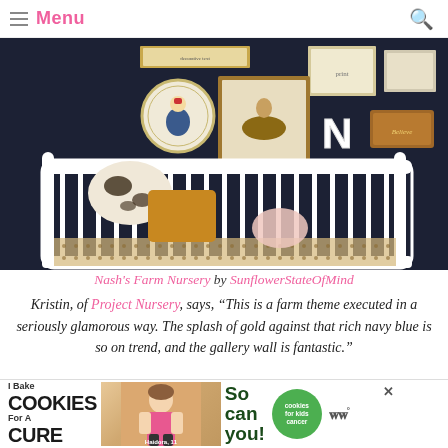Menu
[Figure (photo): A white baby crib against a dark navy blue wall decorated with a gallery wall of framed artwork, including a circular rooster plate, equestrian prints, a letter N, and a wooden sign. The crib has cow-print and mustard yellow pillows, and a patterned crib sheet.]
Nash's Farm Nursery by SunflowerStateOfMind
Kristin, of Project Nursery, says, “This is a farm theme executed in a seriously glamorous way. The splash of gold against that rich navy blue is so on trend, and the gallery wall is fantastic.”
[Figure (infographic): Advertisement banner: I Bake COOKIES For A CURE with a photo of a girl, So can you!, cookies for kids cancer badge, and a close button. WW logo on the right.]